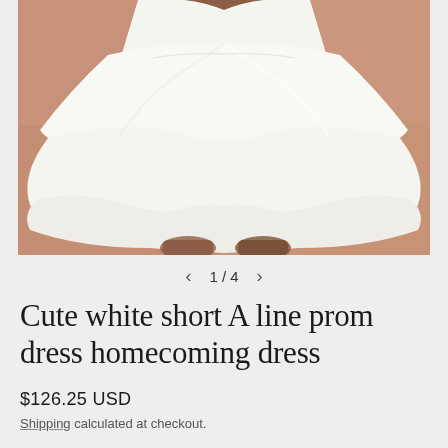[Figure (photo): A model wearing a cute white short A-line dress with tiered ruffled skirt layers, photographed against a terracotta/peach colored wall background. Only the lower torso and legs are visible.]
1 / 4
Cute white short A line prom dress homecoming dress
$126.25 USD
Shipping calculated at checkout.